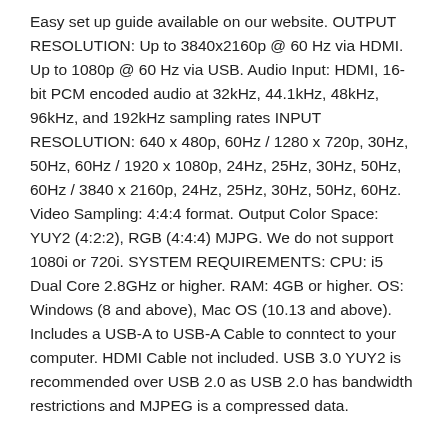Easy set up guide available on our website. OUTPUT RESOLUTION: Up to 3840x2160p @ 60 Hz via HDMI. Up to 1080p @ 60 Hz via USB. Audio Input: HDMI, 16-bit PCM encoded audio at 32kHz, 44.1kHz, 48kHz, 96kHz, and 192kHz sampling rates INPUT RESOLUTION: 640 x 480p, 60Hz / 1280 x 720p, 30Hz, 50Hz, 60Hz / 1920 x 1080p, 24Hz, 25Hz, 30Hz, 50Hz, 60Hz / 3840 x 2160p, 24Hz, 25Hz, 30Hz, 50Hz, 60Hz. Video Sampling: 4:4:4 format. Output Color Space: YUY2 (4:2:2), RGB (4:4:4) MJPG. We do not support 1080i or 720i. SYSTEM REQUIREMENTS: CPU: i5 Dual Core 2.8GHz or higher. RAM: 4GB or higher. OS: Windows (8 and above), Mac OS (10.13 and above). Includes a USB-A to USB-A Cable to conntect to your computer. HDMI Cable not included. USB 3.0 YUY2 is recommended over USB 2.0 as USB 2.0 has bandwidth restrictions and MJPEG is a compressed data.